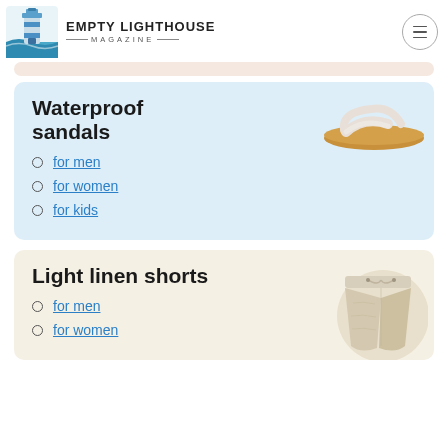EMPTY LIGHTHOUSE MAGAZINE
Waterproof sandals
for men
for women
for kids
Light linen shorts
for men
for women